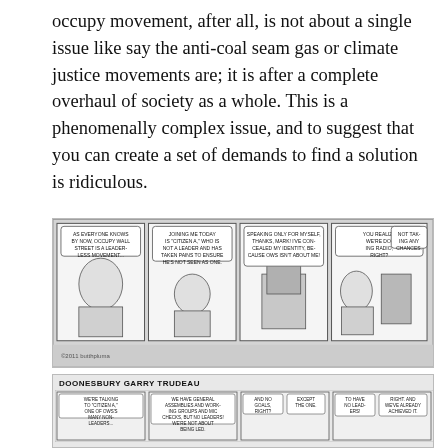occupy movement, after all, is not about a single issue like say the anti-coal seam gas or climate justice movements are; it is after a complete overhaul of society as a whole. This is a phenomenally complex issue, and to suggest that you can create a set of demands to find a solution is ridiculous.
[Figure (illustration): A comic strip (appears to be a newspaper comic) showing four panels with characters discussing Occupy Wall Street. One character appears to be a TV journalist interviewing 'Citizen A' who has a paper bag over their head to conceal identity. Speech bubbles visible but text mostly illegible at this resolution.]
[Figure (illustration): A Doonesbury comic strip by Garry Trudeau, partially visible. The header reads 'DOONESBURY GARRY TRUDEAU'. Multiple panels show characters discussing Occupy movement topics — references to having no leaders, general assemblies, working groups, no goals except one, and having already achieved it.]